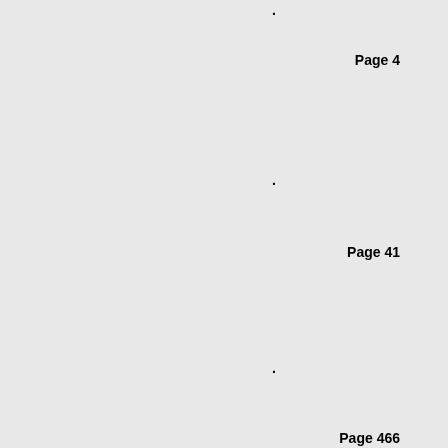.
Page 4
.
Page 41
.
Page 466
.
Page 5
.
Page 5
.